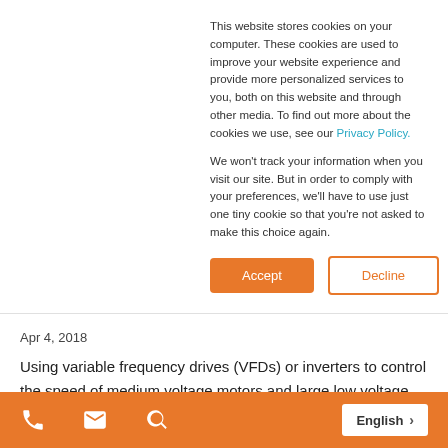This website stores cookies on your computer. These cookies are used to improve your website experience and provide more personalized services to you, both on this website and through other media. To find out more about the cookies we use, see our Privacy Policy.
We won't track your information when you visit our site. But in order to comply with your preferences, we'll have to use just one tiny cookie so that you're not asked to make this choice again.
Apr 4, 2018
Using variable frequency drives (VFDs) or inverters to control the speed of medium voltage motors and large low voltage motors is not only a flexible, cost-effective means of improving process/system control, it also significantly reduces energy costs which can be 80% to 90% of the total cost of ownership. The inverter allows for variable speed operation of the motor, increases the control l...